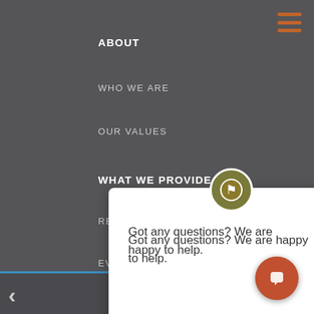ABOUT
WHO WE ARE
OUR VALUES
WHAT WE PROVIDE
RESOURCES
EVENTS
TIM ELMORE
BLOG
PODCAST
TEAM
BOARD OF DIRECTORS
Got any questions? We are happy to help.